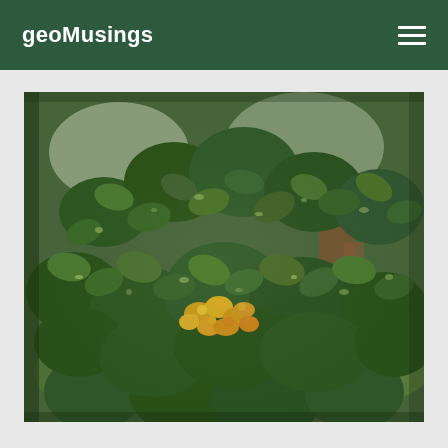geoMusings
[Figure (photo): Close-up photograph of a green leafy shrub with small yellow flowers, taken outdoors with a blurred background showing branches and grass.]